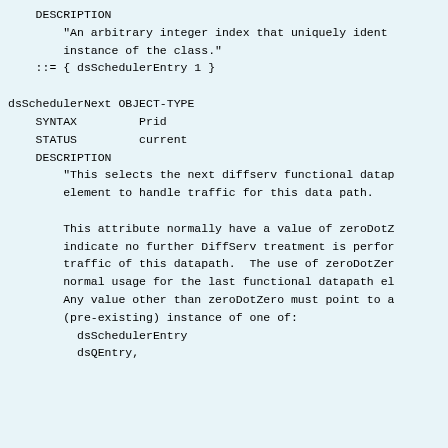DESCRIPTION
    "An arbitrary integer index that uniquely ident
    instance of the class."
::= { dsSchedulerEntry 1 }

dsSchedulerNext OBJECT-TYPE
    SYNTAX         Prid
    STATUS         current
    DESCRIPTION
        "This selects the next diffserv functional datap
        element to handle traffic for this data path.

        This attribute normally have a value of zeroDotZ
        indicate no further DiffServ treatment is perfor
        traffic of this datapath.  The use of zeroDotZer
        normal usage for the last functional datapath el
        Any value other than zeroDotZero must point to a
        (pre-existing) instance of one of:
          dsSchedulerEntry
          dsQEntry,